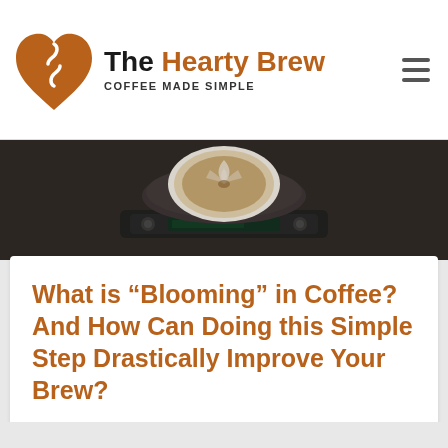The Hearty Brew — COFFEE MADE SIMPLE
[Figure (photo): Close-up top-down view of a coffee cup on a scale, dark blurred background]
What is “Blooming” in Coffee? And How Can Doing this Simple Step Drastically Improve Your Brew?
Your coffee bed puffs up and starts bubbling up – what’s going on? Learn all about the bloom and why it’s such an important step that shouldn’t be missed.